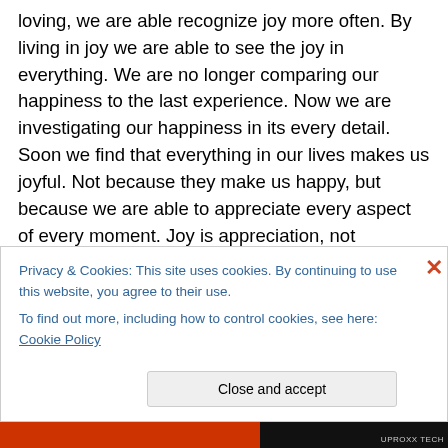loving, we are able recognize joy more often. By living in joy we are able to see the joy in everything. We are no longer comparing our happiness to the last experience. Now we are investigating our happiness in its every detail. Soon we find that everything in our lives makes us joyful. Not because they make us happy, but because we are able to appreciate every aspect of every moment. Joy is appreciation, not happiness. When we live in joy we feel a sense of satisfaction in knowing that everything in life is connected. It is the connections between events that bring us joy, not the events themselves. Once we begin to open
Privacy & Cookies: This site uses cookies. By continuing to use this website, you agree to their use.
To find out more, including how to control cookies, see here: Cookie Policy
Close and accept